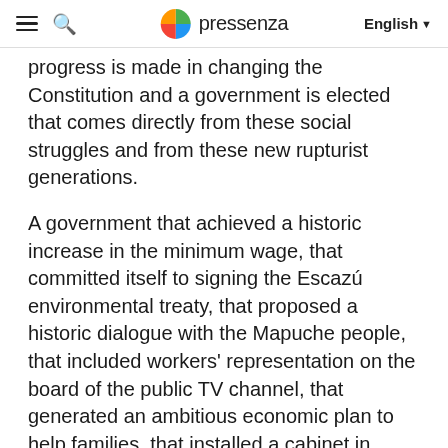pressenza  English
progress is made in changing the Constitution and a government is elected that comes directly from these social struggles and from these new rupturist generations.
A government that achieved a historic increase in the minimum wage, that committed itself to signing the Escazú environmental treaty, that proposed a historic dialogue with the Mapuche people, that included workers' representation on the board of the public TV channel, that generated an ambitious economic plan to help families, that installed a cabinet in which more than half are women ministers, that doubled resources for the purchase and sale of goods and services, and that created a new government that is now a woman minister, that doubles resources for